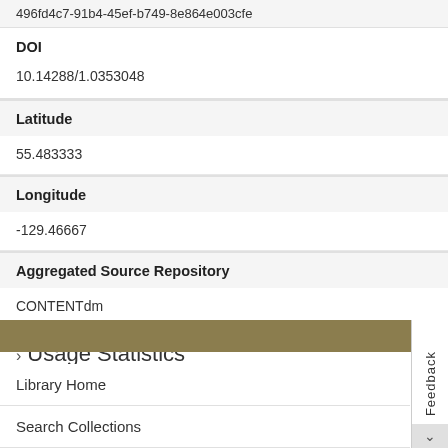496fd4c7-91b4-45ef-b749-8e864e003cfe
DOI
10.14288/1.0353048
Latitude
55.483333
Longitude
-129.46667
Aggregated Source Repository
CONTENTdm
Usage Statistics
Library Home
Search Collections